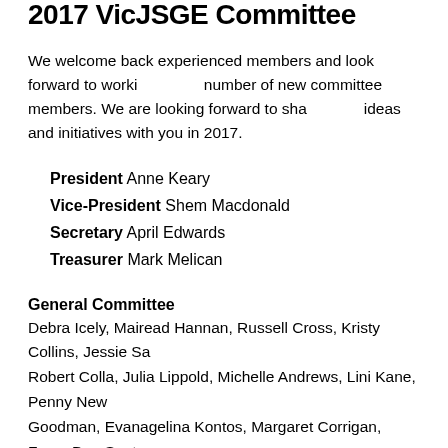2017 VicJSGE Committee
We welcome back experienced members and look forward to working with a number of new committee members. We are looking forward to sharing our ideas and initiatives with you in 2017.
President Anne Keary
Vice-President Shem Macdonald
Secretary April Edwards
Treasurer Mark Melican
General Committee
Debra Icely, Mairead Hannan, Russell Cross, Kristy Collins, Jessie Sa... Robert Colla, Julia Lippold, Michelle Andrews, Lini Kane, Penny New... Goodman, Evanagelina Kontos, Margaret Corrigan, Freya Dos-Santo... Robinson
N...